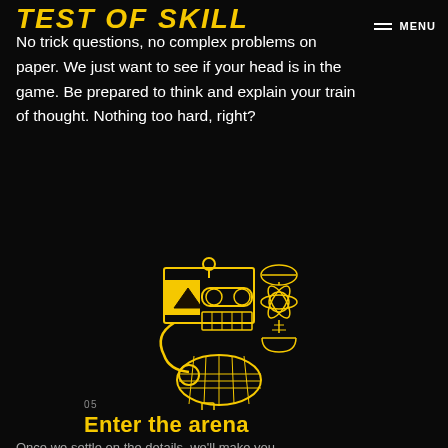TEST OF SKILL
No trick questions, no complex problems on paper. We just want to see if your head is in the game. Be prepared to think and explain your train of thought. Nothing too hard, right?
[Figure (illustration): Yellow line-art illustration of a machine/robot with conveyor belt, atomic symbol, tennis racket, and other mechanical parts on black background]
05
Enter the arena
Once we settle on the details, we'll make you